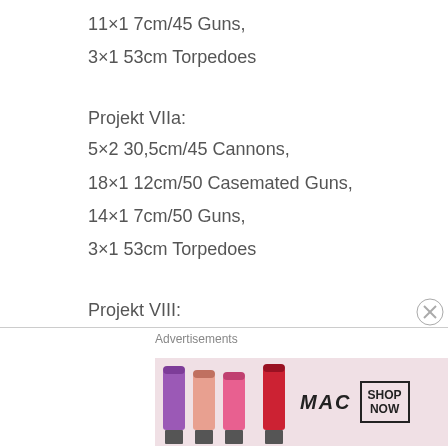11×1 7cm/45 Guns,
3×1 53cm Torpedoes
Projekt VIIa:
5×2 30,5cm/45 Cannons,
18×1 12cm/50 Casemated Guns,
14×1 7cm/50 Guns,
3×1 53cm Torpedoes
Projekt VIII:
4×3 30,5cm/45 Cannons,
10×1 15cm/50 Casemated Guns,
14×1 7cm/50 Guns,
4×1 53cm Torpedoes,